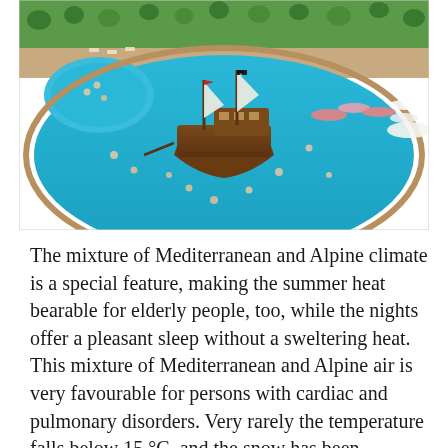[Figure (photo): Aerial view of a resort swimming pool complex with a large pirate ship play structure in the center of a turquoise pool, surrounded by sunbathers, umbrellas, and greenery.]
The mixture of Mediterranean and Alpine climate is a special feature, making the summer heat bearable for elderly people, too, while the nights offer a pleasant sleep without a sweltering heat. This mixture of Mediterranean and Alpine air is very favourable for persons with cardiac and pulmonary disorders. Very rarely the temperature falls below 15 °C, and the snow has been recorded very rarely.